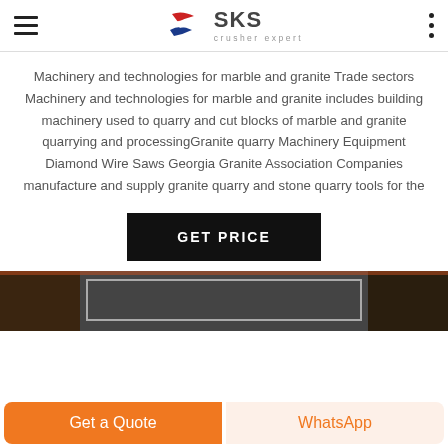SKS crusher expert
Machinery and technologies for marble and granite Trade sectors Machinery and technologies for marble and granite includes building machinery used to quarry and cut blocks of marble and granite quarrying and processingGranite quarry Machinery Equipment Diamond Wire Saws Georgia Granite Association Companies manufacture and supply granite quarry and stone quarry tools for the
[Figure (other): GET PRICE button — black rectangle with white bold text]
[Figure (photo): Partial photo of industrial machinery interior, dark tones with orange/red elements visible]
Get a Quote | WhatsApp